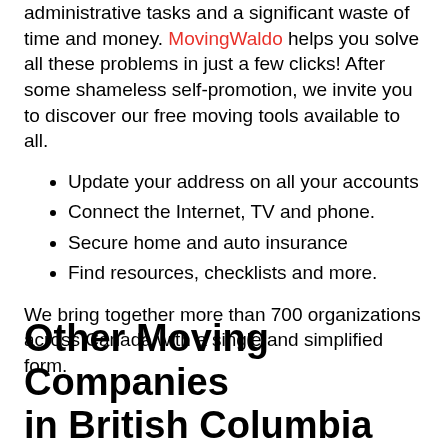administrative tasks and a significant waste of time and money. MovingWaldo helps you solve all these problems in just a few clicks! After some shameless self-promotion, we invite you to discover our free moving tools available to all.
Update your address on all your accounts
Connect the Internet, TV and phone.
Secure home and auto insurance
Find resources, checklists and more.
We bring together more than 700 organizations across Canada with a single and simplified form.
Other Moving Companies in British Columbia